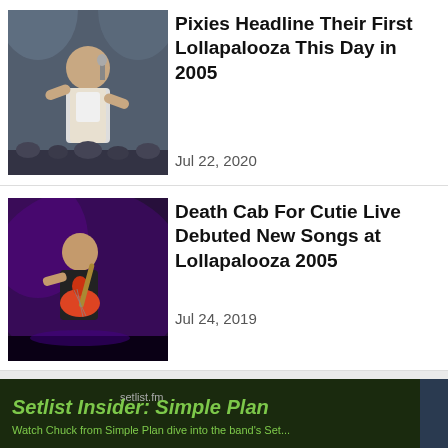[Figure (photo): Photo of Pixies performing live on stage, singer with microphone]
Pixies Headline Their First Lollapalooza This Day in 2005
Jul 22, 2020
[Figure (photo): Photo of Death Cab For Cutie performing live on stage, guitarist in purple light]
Death Cab For Cutie Live Debuted New Songs at Lollapalooza 2005
Jul 24, 2019
[Figure (screenshot): Video section showing Setlist Insider: Simple Plan. setlist.fm logo. Text: Watch Chuck from Simple Plan dive into the band's Set... Green INSIDER logo on dark background. Video thumbnail showing a person. Smirnoff advertisement banner at bottom with WHERE TO BUY button. Green close X button.]